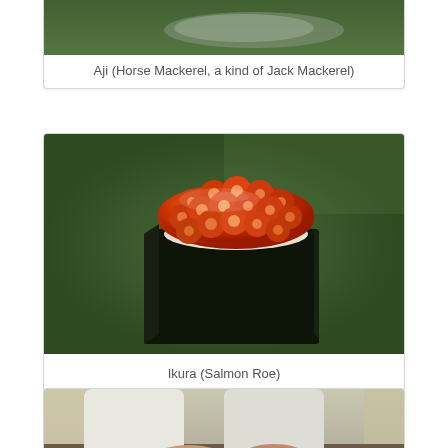[Figure (photo): Photo of Aji (Horse Mackerel) sushi on a green background, partially visible at top]
Aji (Horse Mackerel, a kind of Jack Mackerel)
[Figure (photo): Close-up photo of Ikura (Salmon Roe) sushi gunkan wrapped in nori seaweed, topped with glistening red salmon roe, on a dark green surface]
Ikura (Salmon Roe)
[Figure (photo): Photo of a sushi chef in white uniform working with hands, partially visible at bottom of page]